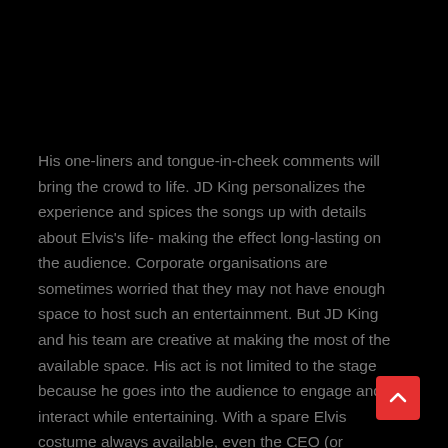His one-liners and tongue-in-cheek comments will bring the crowd to life. JD King personalizes the experience and spices the songs up with details about Elvis's life- making the effect long-lasting on the audience. Corporate organisations are sometimes worried that they may not have enough space to host such an entertainment. But JD King and his team are creative at making the most of the available space. His act is not limited to the stage because he goes into the audience to engage and interact while entertaining. With a spare Elvis costume always available, even the CEO (or anyone) can dress up as Elvis and join JD King on stage as he performs the hits we all love.